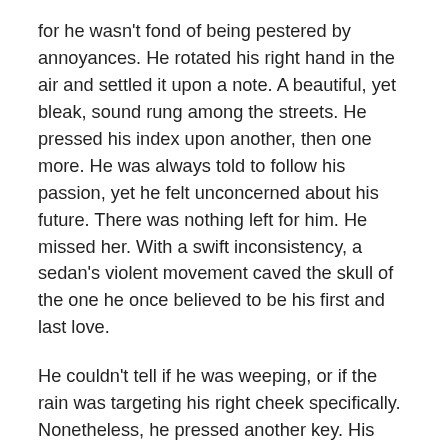for he wasn't fond of being pestered by annoyances. He rotated his right hand in the air and settled it upon a note. A beautiful, yet bleak, sound rung among the streets. He pressed his index upon another, then one more. He was always told to follow his passion, yet he felt unconcerned about his future. There was nothing left for him. He missed her. With a swift inconsistency, a sedan's violent movement caved the skull of the one he once believed to be his first and last love.
He couldn't tell if he was weeping, or if the rain was targeting his right cheek specifically. Nonetheless, he pressed another key. His soul was fulfilled again, but temporarily. He missed him, his only son. With an extended period of suffering, the motion became motionless, and the malignancy in the brain was depleted into black. He no longer suffered. Another tear trickled down his cheek, this time his left. He remained seated in